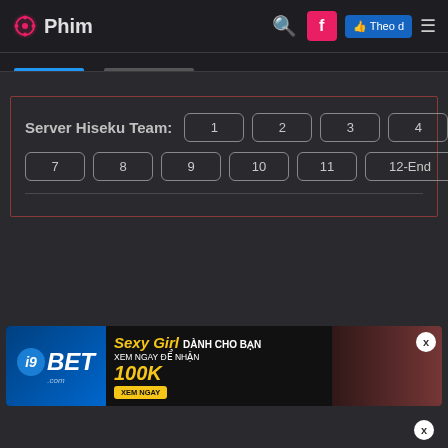Phim
Server Hiseku Team: 1 2 3 4 5 6 7 8 9 10 11 12-End
[Figure (screenshot): Advertisement banner for i9BET.com with text 'Sexy Girl DANH CHO BAN XEM NGAY DE NHAN 100K XEM NGAY']